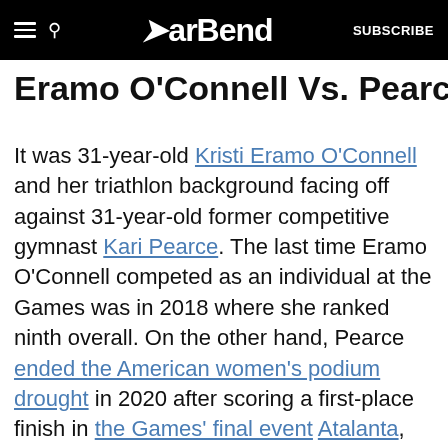BarBend — SUBSCRIBE
Eramo O'Connell Vs. Pearce
It was 31-year-old Kristi Eramo O'Connell and her triathlon background facing off against 31-year-old former competitive gymnast Kari Pearce. The last time Eramo O'Connell competed as an individual at the Games was in 2018 where she ranked ninth overall. On the other hand, Pearce ended the American women's podium drought in 2020 after scoring a first-place finish in the Games' final event Atalanta, which featured pull-ups, handstand push-ups, and pistol squats